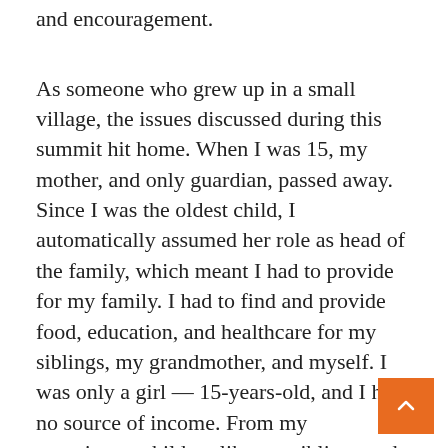and encouragement.
As someone who grew up in a small village, the issues discussed during this summit hit home. When I was 15, my mother, and only guardian, passed away. Since I was the oldest child, I automatically assumed her role as head of the family, which meant I had to provide for my family. I had to find and provide food, education, and healthcare for my siblings, my grandmother, and myself. I was only a girl — 15-years-old, and I had no source of income. From my experience, children like my siblings and me often end up victims of various forms of violence including land and property grabbing, child marriage, child labor, a lack of education.